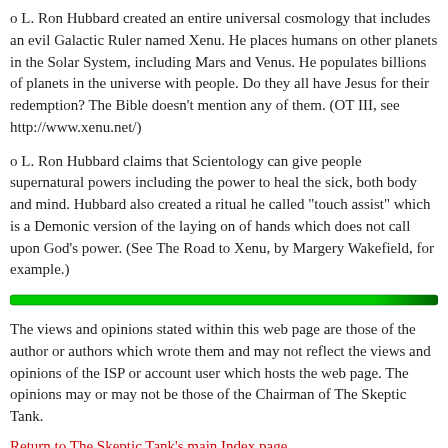o L. Ron Hubbard created an entire universal cosmology that includes an evil Galactic Ruler named Xenu. He places humans on other planets in the Solar System, including Mars and Venus. He populates billions of planets in the universe with people. Do they all have Jesus for their redemption? The Bible doesn't mention any of them. (OT III, see http://www.xenu.net/)
o L. Ron Hubbard claims that Scientology can give people supernatural powers including the power to heal the sick, both body and mind. Hubbard also created a ritual he called "touch assist" which is a Demonic version of the laying on of hands which does not call upon God's power. (See The Road to Xenu, by Margery Wakefield, for example.)
[Figure (other): A thick horizontal green bar/divider spanning the full page width]
The views and opinions stated within this web page are those of the author or authors which wrote them and may not reflect the views and opinions of the ISP or account user which hosts the web page. The opinions may or may not be those of the Chairman of The Skeptic Tank.
Return to The Skeptic Tank's main Index page.
E-Mail Fredric L. Rice / The Skeptic Tank